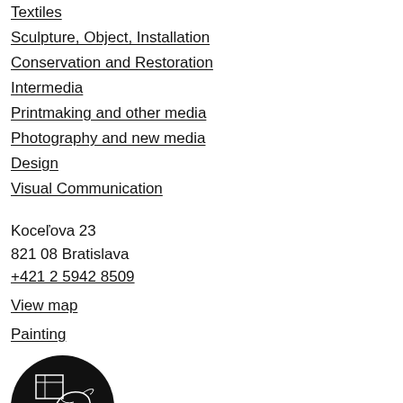Textiles
Sculpture, Object, Installation
Conservation and Restoration
Intermedia
Printmaking and other media
Photography and new media
Design
Visual Communication
Koceľova 23
821 08 Bratislava
+421 2 5942 8509
View map
Painting
[Figure (logo): Black circular logo with white line illustration of a figure]